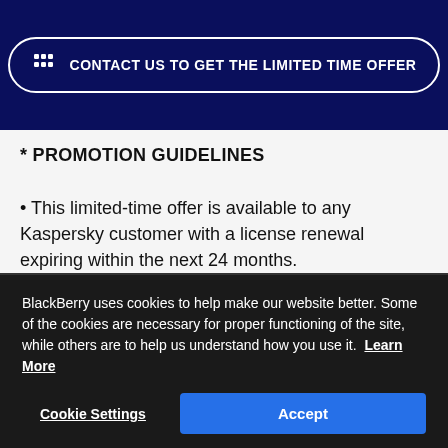[Figure (other): BlackBerry branded header banner with dark navy background containing a rounded rectangle button with BlackBerry logo icon and text: CONTACT US TO GET THE LIMITED TIME OFFER]
* PROMOTION GUIDELINES
This limited-time offer is available to any Kaspersky customer with a license renewal expiring within the next 24 months.
BlackBerry uses cookies to help make our website better. Some of the cookies are necessary for proper functioning of the site, while others are to help us understand how you use it. Learn More